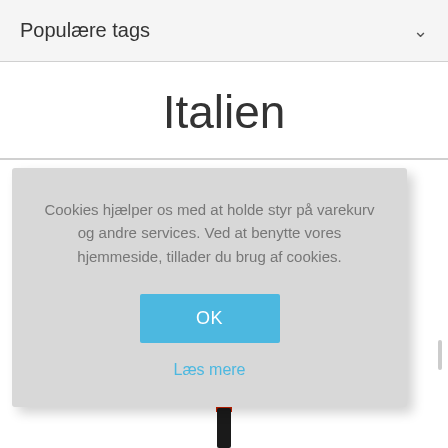Populære tags
Italien
Cookies hjælper os med at holde styr på varekurv og andre services. Ved at benytte vores hjemmeside, tillader du brug af cookies.
OK
Læs mere
[Figure (photo): Partial view of a wine bottle (dark bottle with red cap) visible at the bottom of the page behind the cookie consent dialog.]